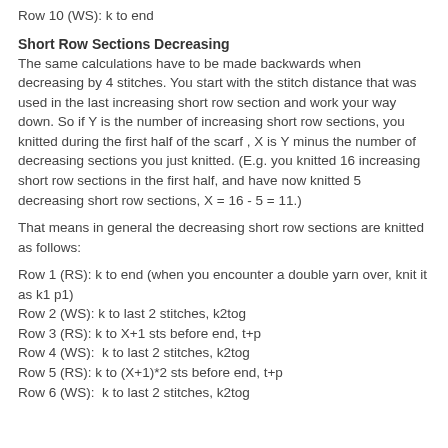Row 10 (WS): k to end
Short Row Sections Decreasing
The same calculations have to be made backwards when decreasing by 4 stitches. You start with the stitch distance that was used in the last increasing short row section and work your way down. So if Y is the number of increasing short row sections, you knitted during the first half of the scarf , X is Y minus the number of decreasing sections you just knitted. (E.g. you knitted 16 increasing short row sections in the first half, and have now knitted 5 decreasing short row sections, X = 16 - 5 = 11.)
That means in general the decreasing short row sections are knitted as follows:
Row 1 (RS): k to end (when you encounter a double yarn over, knit it as k1 p1)
Row 2 (WS): k to last 2 stitches, k2tog
Row 3 (RS): k to X+1 sts before end, t+p
Row 4 (WS):  k to last 2 stitches, k2tog
Row 5 (RS): k to (X+1)*2 sts before end, t+p
Row 6 (WS):  k to last 2 stitches, k2tog